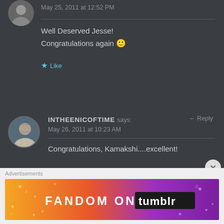May 25, 2011 at 12:52 PM
Well Deserved Jesse!
Congratulations again 🙂
Like
INTHEENICOFTIME says:
Reply
May 26, 2011 at 10:23 AM
Congratulations, Kamakshi....excellent!
Like
Advertisements
[Figure (illustration): Fandom on Tumblr advertisement banner with colorful gradient background from orange to purple, white icons and text reading FANDOM ON tumblr]